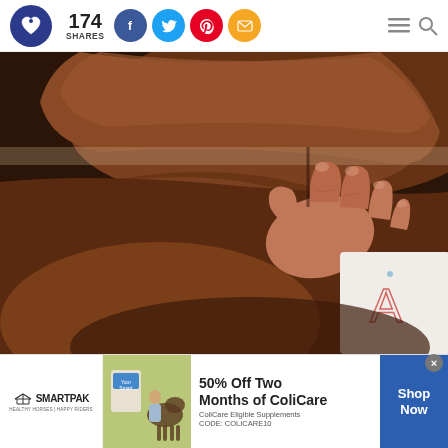174 SHARES — social share header with Facebook, Twitter, Pinterest, Email buttons
[Figure (photo): Close-up photograph of a newborn baby's tiny hand grasping an adult's finger, with a patterned fabric visible in the background]
[Figure (infographic): Advertisement banner: SmartPak — 50% Off Two Months of ColiCare. ColiCare Eligible Supplements. CODE: COLICARE10. Shop Now button.]